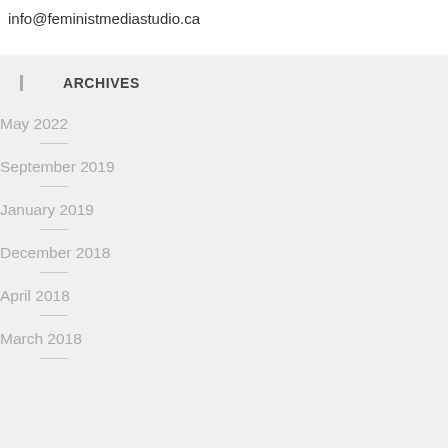info@feministmediastudio.ca
ARCHIVES
May 2022
September 2019
January 2019
December 2018
April 2018
March 2018